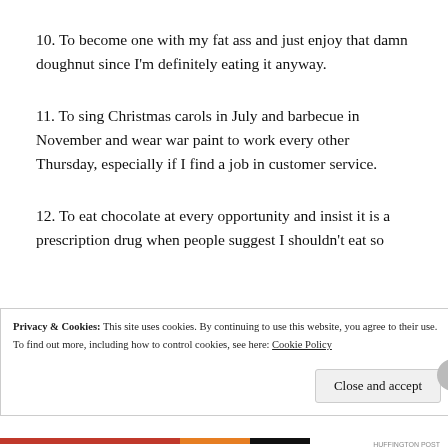10. To become one with my fat ass and just enjoy that damn doughnut since I'm definitely eating it anyway.
11. To sing Christmas carols in July and barbecue in November and wear war paint to work every other Thursday, especially if I find a job in customer service.
12. To eat chocolate at every opportunity and insist it is a prescription drug when people suggest I shouldn't eat so
Privacy & Cookies: This site uses cookies. By continuing to use this website, you agree to their use. To find out more, including how to control cookies, see here: Cookie Policy
Close and accept